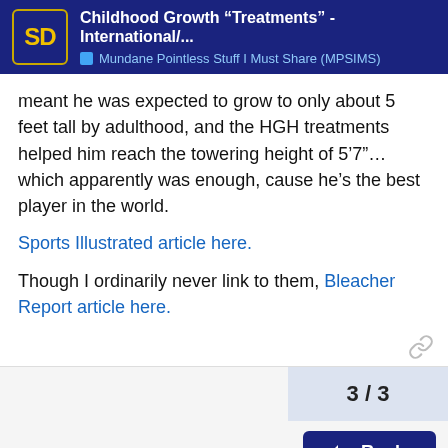Childhood Growth “Treatments” - International/... | Mundane Pointless Stuff I Must Share (MPSIMS)
meant he was expected to grow to only about 5 feet tall by adulthood, and the HGH treatments helped him reach the towering height of 5’7”… which apparently was enough, cause he’s the best player in the world.
Sports Illustrated article here.
Though I ordinarily never link to them, Bleacher Report article here.
3 / 3
Reply
ADVERTISEMENT